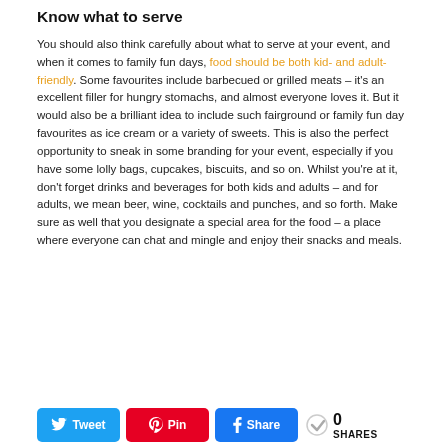Know what to serve
You should also think carefully about what to serve at your event, and when it comes to family fun days, food should be both kid- and adult-friendly. Some favourites include barbecued or grilled meats – it's an excellent filler for hungry stomachs, and almost everyone loves it. But it would also be a brilliant idea to include such fairground or family fun day favourites as ice cream or a variety of sweets. This is also the perfect opportunity to sneak in some branding for your event, especially if you have some lolly bags, cupcakes, biscuits, and so on. Whilst you're at it, don't forget drinks and beverages for both kids and adults – and for adults, we mean beer, wine, cocktails and punches, and so forth. Make sure as well that you designate a special area for the food – a place where everyone can chat and mingle and enjoy their snacks and meals.